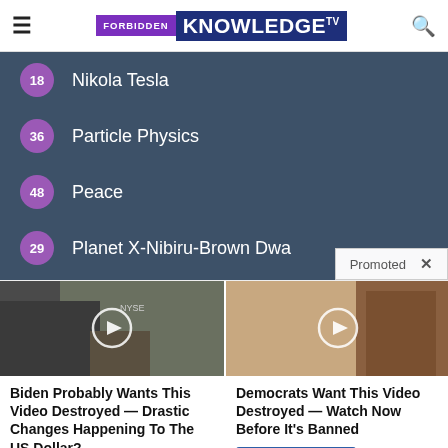FORBIDDEN KNOWLEDGE TV
18 Nikola Tesla
36 Particle Physics
48 Peace
29 Planet X-Nibiru-Brown Dwa...
Promoted ×
[Figure (photo): Video thumbnail showing a man being interviewed on what appears to be a stock exchange floor (NYSE visible), with a play button overlay]
[Figure (photo): Video thumbnail showing a woman with long dark hair and a man in a suit with a red tie, with a play button overlay]
Biden Probably Wants This Video Destroyed — Drastic Changes Happening To The US Dollar?
Watch The Video
Democrats Want This Video Destroyed — Watch Now Before It's Banned
Watch The Video